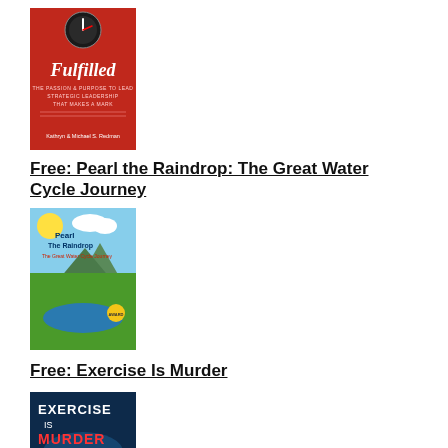[Figure (illustration): Book cover of 'Fulfilled' - red background with compass/gauge icon at top, author names Kathryn & Michael S. Redman at bottom]
Free: Pearl the Raindrop: The Great Water Cycle Journey
[Figure (illustration): Book cover of 'Pearl The Raindrop: The Great Water Cycle Journey' - colorful children's illustration with sun, clouds, mountains and green landscape]
Free: Exercise Is Murder
[Figure (illustration): Book cover of 'Exercise Is Murder' - dark cover with person swimming, red and blue tones, subtitle 'A Miles Malone Murder Mystery']